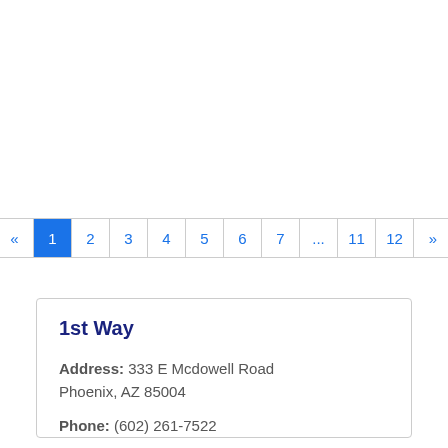« 1 2 3 4 5 6 7 ... 11 12 »
1st Way
Address: 333 E Mcdowell Road Phoenix, AZ 85004
Phone: (602) 261-7522
» More Info